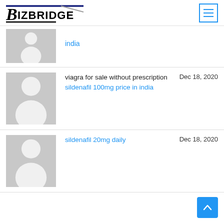BizBridge
india
viagra for sale without prescription sildenafil 100mg price in india  Dec 18, 2020
sildenafil 20mg daily  Dec 18, 2020